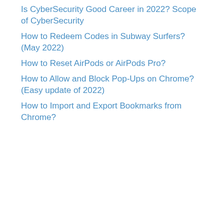Is CyberSecurity Good Career in 2022? Scope of CyberSecurity
How to Redeem Codes in Subway Surfers? (May 2022)
How to Reset AirPods or AirPods Pro?
How to Allow and Block Pop-Ups on Chrome? (Easy update of 2022)
How to Import and Export Bookmarks from Chrome?